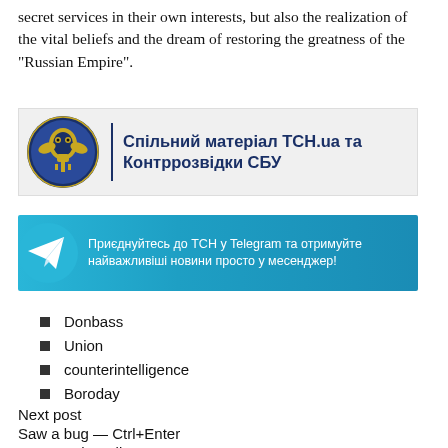secret services in their own interests, but also the realization of the vital beliefs and the dream of restoring the greatness of the "Russian Empire".
[Figure (logo): Banner: Спільний матеріал ТСН.ua та Контррозвідки СБУ — joint material logo with SBU emblem]
[Figure (infographic): Telegram channel banner: Приєднуйтесь до ТСН у Telegram та отримуйте найважливіші новини просто у месенджер!]
Donbass
Union
counterintelligence
Boroday
Next post
Saw a bug — Ctrl+Enter
Letter to the editor